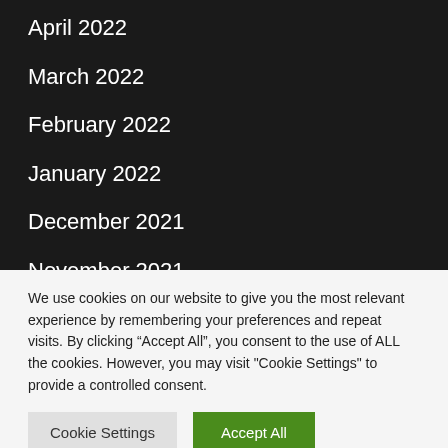April 2022
March 2022
February 2022
January 2022
December 2021
November 2021
October 2021
September 2021
We use cookies on our website to give you the most relevant experience by remembering your preferences and repeat visits. By clicking “Accept All”, you consent to the use of ALL the cookies. However, you may visit "Cookie Settings" to provide a controlled consent.
Cookie Settings
Accept All